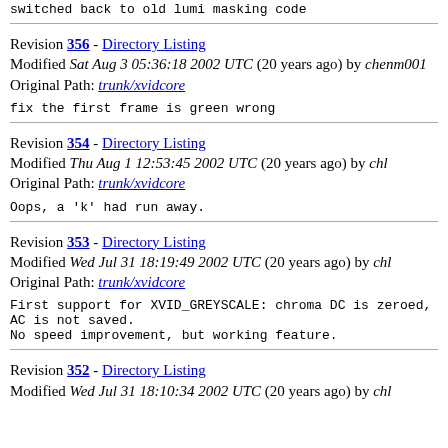switched back to old lumi masking code
Revision 356 - Directory Listing
Modified Sat Aug 3 05:36:18 2002 UTC (20 years ago) by chenm001
Original Path: trunk/xvidcore
fix the first frame is green wrong
Revision 354 - Directory Listing
Modified Thu Aug 1 12:53:45 2002 UTC (20 years ago) by chl
Original Path: trunk/xvidcore
Oops, a 'k' had run away.
Revision 353 - Directory Listing
Modified Wed Jul 31 18:19:49 2002 UTC (20 years ago) by chl
Original Path: trunk/xvidcore
First support for XVID_GREYSCALE: chroma DC is zeroed, AC is not saved.
No speed improvement, but working feature.
Revision 352 - Directory Listing
Modified Wed Jul 31 18:10:34 2002 UTC (20 years ago) by chl